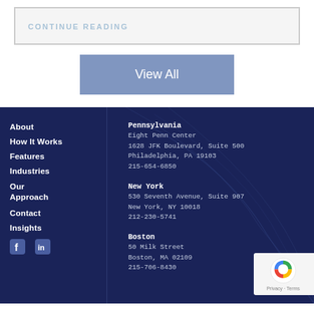CONTINUE READING
View All
About
How It Works
Features
Industries
Our Approach
Contact
Insights
Pennsylvania
Eight Penn Center
1628 JFK Boulevard, Suite 500
Philadelphia, PA 19103
215-654-6850
New York
530 Seventh Avenue, Suite 907
New York, NY 10018
212-230-5741
Boston
50 Milk Street
Boston, MA 02109
215-706-8430